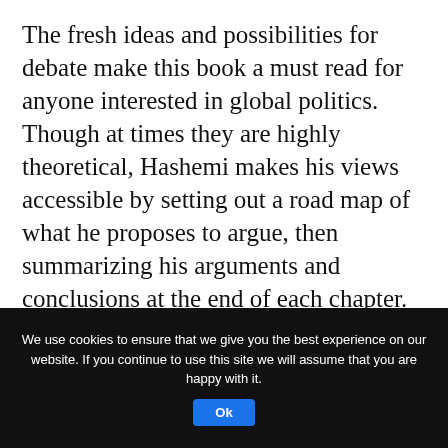The fresh ideas and possibilities for debate make this book a must read for anyone interested in global politics. Though at times they are highly theoretical, Hashemi makes his views accessible by setting out a road map of what he proposes to argue, then summarizing his arguments and conclusions at the end of each chapter.
Hashemi's book is undoubtedly a weighty contribution on the question of Islam and democracy, one of the “great problems of our time.”
We use cookies to ensure that we give you the best experience on our website. If you continue to use this site we will assume that you are happy with it. Ok